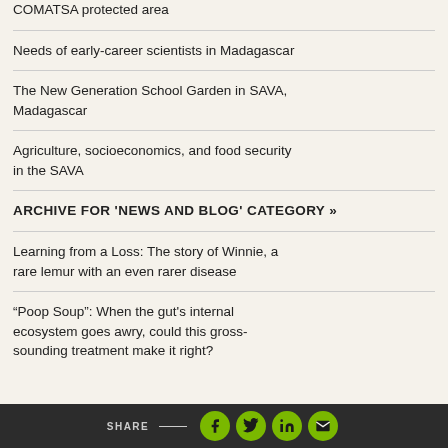COMATSA protected area
Needs of early-career scientists in Madagascar
The New Generation School Garden in SAVA, Madagascar
Agriculture, socioeconomics, and food security in the SAVA
ARCHIVE FOR 'News and Blog' CATEGORY »
Learning from a Loss: The story of Winnie, a rare lemur with an even rarer disease
“Poop Soup”: When the gut's internal ecosystem goes awry, could this gross-sounding treatment make it right?
SHARE — (social icons: Facebook, Twitter, LinkedIn, Email)